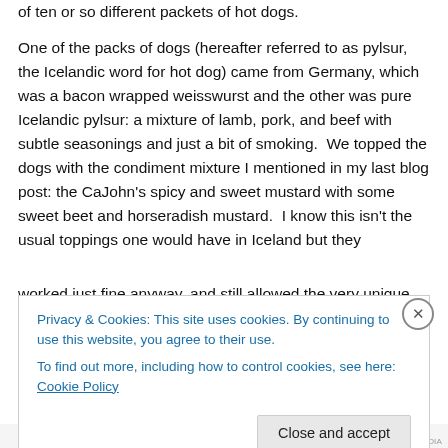of ten or so different packets of hot dogs. One of the packs of dogs (hereafter referred to as pylsur, the Icelandic word for hot dog) came from Germany, which was a bacon wrapped weisswurst and the other was pure Icelandic pylsur: a mixture of lamb, pork, and beef with subtle seasonings and just a bit of smoking.  We topped the dogs with the condiment mixture I mentioned in my last blog post: the CaJohn's spicy and sweet mustard with some sweet beet and horseradish mustard.  I know this isn't the usual toppings one would have in Iceland but they worked just fine anyway, and still allowed the very unique
Privacy & Cookies: This site uses cookies. By continuing to use this website, you agree to their use.
To find out more, including how to control cookies, see here: Cookie Policy
Close and accept